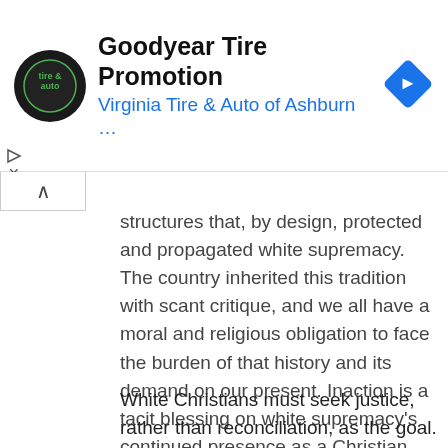[Figure (screenshot): Goodyear Tire Promotion advertisement banner with Virginia Tire & Auto of Ashburn logo, title text, blue subtitle, and blue navigation diamond icon]
structures that, by design, protected and propagated white supremacy. The country inherited this tradition with scant critique, and we all have a moral and religious obligation to face the burden of that history and its demand on our present. Inaction is a tacit blessing on white supremacy's continued presence as a Christian habit and virtue. Doing nothing will ensure that, even despite our best conscious intentions, we will continue to be blind to the racial injustice all around us.
White Christians must seek justice, rather than reconciliation, as the goal. Even when white